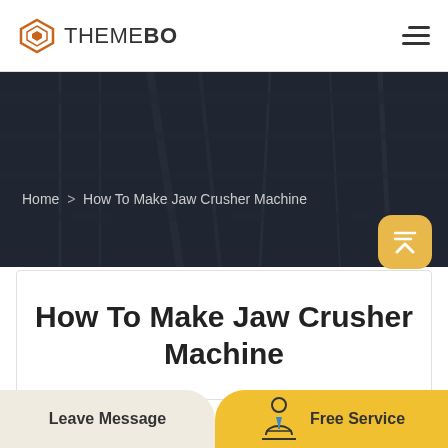THEMEBO
Home > How To Make Jaw Crusher Machine
How To Make Jaw Crusher Machine
Leave Message
Free Service